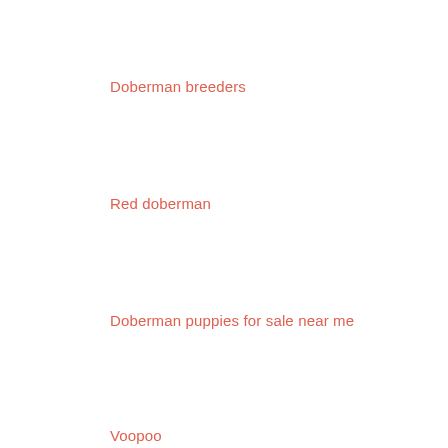Doberman breeders
Red doberman
Doberman puppies for sale near me
Voopoo
Voopoo drag
Voopoo Drag 2
Voo poo
voopoo vape
voopoo vinci